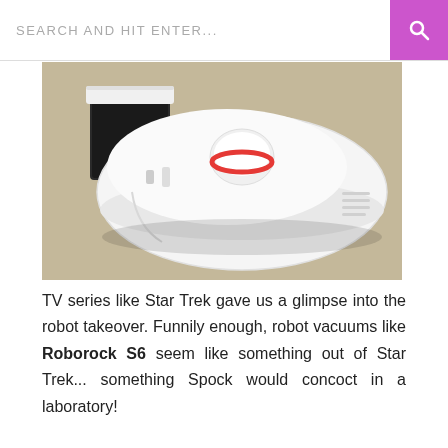SEARCH AND HIT ENTER...
[Figure (photo): A white Roborock S6 robot vacuum cleaner sitting on beige carpet, shown from a slightly elevated angle with its docking station visible behind it.]
TV series like Star Trek gave us a glimpse into the robot takeover. Funnily enough, robot vacuums like Roborock S6 seem like something out of Star Trek... something Spock would concoct in a laboratory!